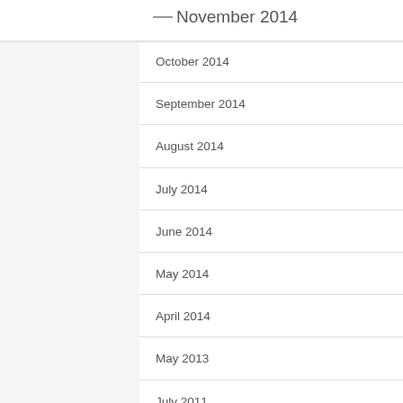November 2014
October 2014
September 2014
August 2014
July 2014
June 2014
May 2014
April 2014
May 2013
July 2011
June 2011